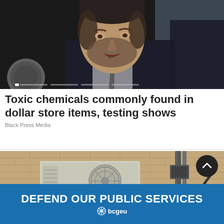[Figure (photo): Close-up photo of a bearded man in a suit speaking at a microphone, against a dark background. Slider navigation dots visible at bottom of image.]
Toxic chemicals commonly found in dollar store items, testing shows
Black Press Media
[Figure (photo): Photo of an exterior wall showing an air conditioning/heat pump unit mounted on a brick wall with electrical conduits.]
[Figure (infographic): Blue advertisement banner reading 'DEFEND OUR PUBLIC SERVICES' with bcgeu snowflake logo below.]